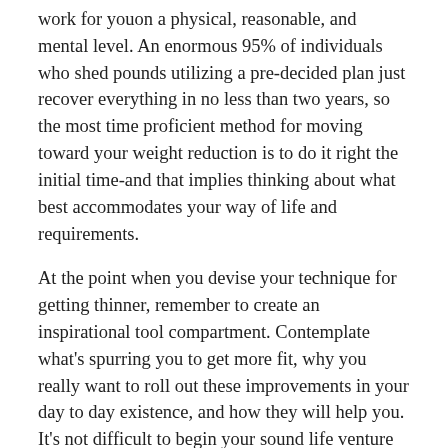work for youon a physical, reasonable, and mental level. An enormous 95% of individuals who shed pounds utilizing a pre-decided plan just recover everything in no less than two years, so the most time proficient method for moving toward your weight reduction is to do it right the initial time-and that implies thinking about what best accommodates your way of life and requirements.
At the point when you devise your technique for getting thinner, remember to create an inspirational tool compartment. Contemplate what's spurring you to get more fit, why you really want to roll out these improvements in your day to day existence, and how they will help you. It's not difficult to begin your sound life venture loaded with inspiration, however things can rapidly wander off. Out of nowhere, you've gone from being an energetic, motivated hard worker into being a crippled, unconcerned wreck. Indeed, a few things will turn out badly it's unavoidable. In any case, it's a lot